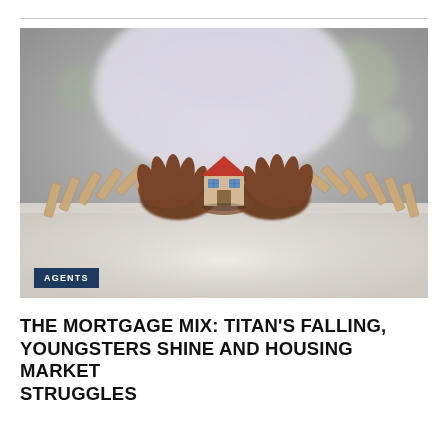[Figure (photo): A person's hands protecting a small model house from falling wooden dominoes on a table, symbolic of mortgage/housing market protection.]
AGENTS
THE MORTGAGE MIX: TITAN'S FALLING, YOUNGSTERS SHINE AND HOUSING MARKET STRUGGLES